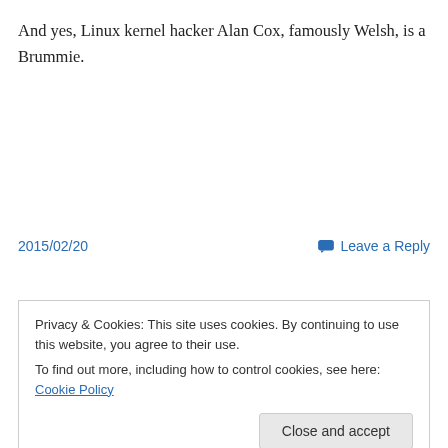And yes, Linux kernel hacker Alan Cox, famously Welsh, is a Brummie.
2015/02/20   Leave a Reply
Privacy & Cookies: This site uses cookies. By continuing to use this website, you agree to their use.
To find out more, including how to control cookies, see here: Cookie Policy
Close and accept